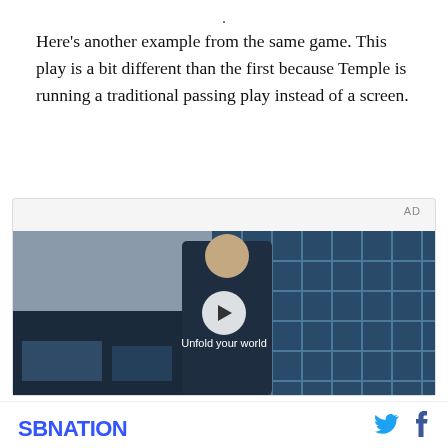Here’s another example from the same game. This play is a bit different than the first because Temple is running a traditional passing play instead of a screen.
[Figure (screenshot): Advertisement video player showing a young man in a denim jacket standing in a store interior with blue tiled wall behind him. Text overlay reads 'Unfold your world' with a play button in the center. AD label in top-right corner.]
SBNATION